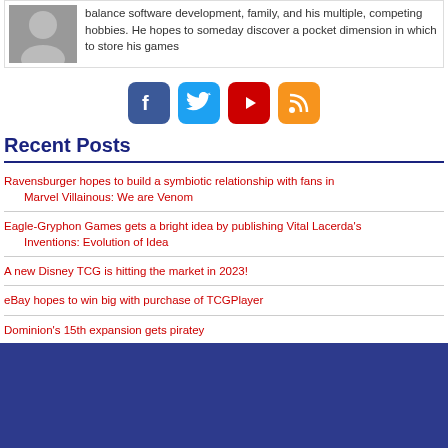balance software development, family, and his multiple, competing hobbies. He hopes to someday discover a pocket dimension in which to store his games
[Figure (infographic): Social media icons: Facebook (blue), Twitter (light blue), YouTube (red), RSS (orange)]
Recent Posts
Ravensburger hopes to build a symbiotic relationship with fans in Marvel Villainous: We are Venom
Eagle-Gryphon Games gets a bright idea by publishing Vital Lacerda's Inventions: Evolution of Idea
A new Disney TCG is hitting the market in 2023!
eBay hopes to win big with purchase of TCGPlayer
Dominion's 15th expansion gets piratey
[Figure (illustration): Dark blue footer background section]